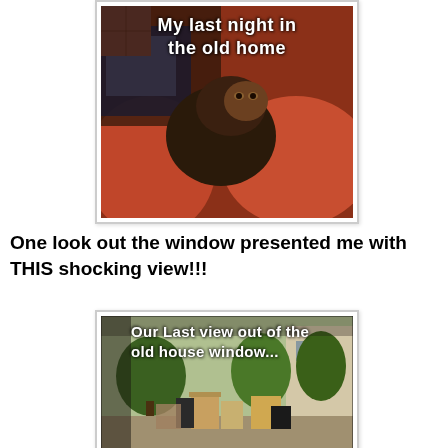[Figure (photo): A cat lying on red/orange couch cushions with text overlay 'My last night in the old home']
One look out the window presented me with THIS shocking view!!!
[Figure (photo): A view out of a window showing a garden with moving boxes and furniture outside, with text overlay 'Our Last view out of the old house window...']